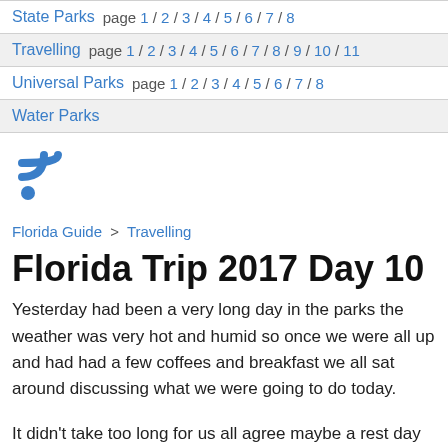State Parks  page 1 / 2 / 3 / 4 / 5 / 6 / 7 / 8
Travelling  page 1 / 2 / 3 / 4 / 5 / 6 / 7 / 8 / 9 / 10 / 11
Universal Parks  page 1 / 2 / 3 / 4 / 5 / 6 / 7 / 8
Water Parks
[Figure (illustration): RSS feed icon in blue]
Florida Guide > Travelling
Florida Trip 2017 Day 10
Yesterday had been a very long day in the parks the weather was very hot and humid so once we were all up and had had a few coffees and breakfast we all sat around discussing what we were going to do today.
It didn't take too long for us all agree maybe a rest day